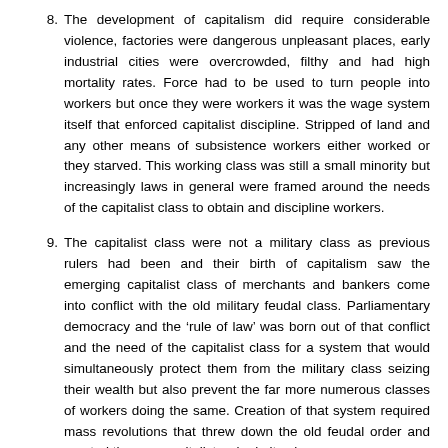8. The development of capitalism did require considerable violence, factories were dangerous unpleasant places, early industrial cities were overcrowded, filthy and had high mortality rates. Force had to be used to turn people into workers but once they were workers it was the wage system itself that enforced capitalist discipline. Stripped of land and any other means of subsistence workers either worked or they starved. This working class was still a small minority but increasingly laws in general were framed around the needs of the capitalist class to obtain and discipline workers.
9. The capitalist class were not a military class as previous rulers had been and their birth of capitalism saw the emerging capitalist class of merchants and bankers come into conflict with the old military feudal class. Parliamentary democracy and the ‘rule of law’ was born out of that conflict and the need of the capitalist class for a system that would simultaneously protect them from the military class seizing their wealth but also prevent the far more numerous classes of workers doing the same. Creation of that system required mass revolutions that threw down the old feudal order and erected the new capitalist order in its place.